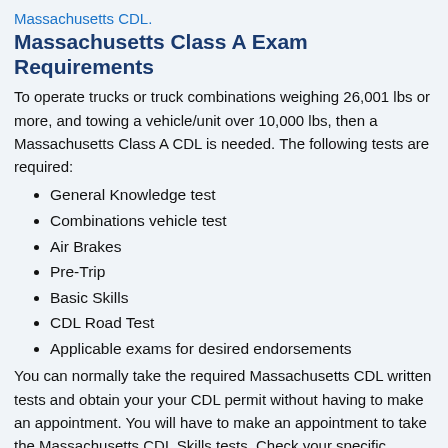Massachusetts CDL.
Massachusetts Class A Exam Requirements
To operate trucks or truck combinations weighing 26,001 lbs or more, and towing a vehicle/unit over 10,000 lbs, then a Massachusetts Class A CDL is needed. The following tests are required:
General Knowledge test
Combinations vehicle test
Air Brakes
Pre-Trip
Basic Skills
CDL Road Test
Applicable exams for desired endorsements
You can normally take the required Massachusetts CDL written tests and obtain your your CDL permit without having to make an appointment. You will have to make an appointment to take the Massachusetts CDL Skills tests. Check your specific Massachusetts CDL Information for details.